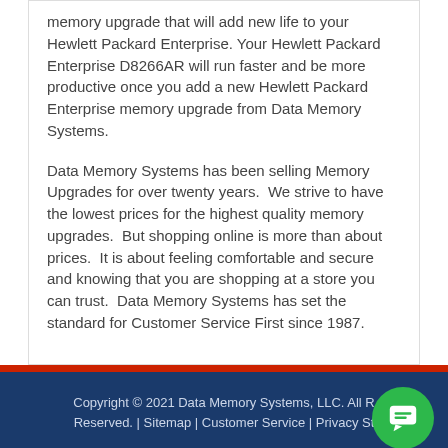memory upgrade that will add new life to your Hewlett Packard Enterprise. Your Hewlett Packard Enterprise D8266AR will run faster and be more productive once you add a new Hewlett Packard Enterprise memory upgrade from Data Memory Systems.
Data Memory Systems has been selling Memory Upgrades for over twenty years.  We strive to have the lowest prices for the highest quality memory upgrades.  But shopping online is more than about prices.  It is about feeling comfortable and secure and knowing that you are shopping at a store you can trust.  Data Memory Systems has set the standard for Customer Service First since 1987.
Copyright © 2021 Data Memory Systems, LLC. All Rights Reserved. | Sitemap | Customer Service | Privacy St...